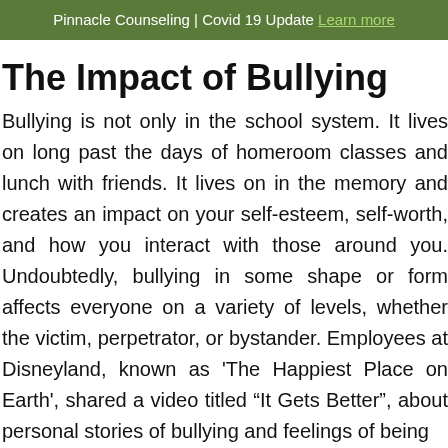Pinnacle Counseling | Covid 19 Update Learn more
The Impact of Bullying
Bullying is not only in the school system. It lives on long past the days of homeroom classes and lunch with friends. It lives on in the memory and creates an impact on your self-esteem, self-worth, and how you interact with those around you. Undoubtedly, bullying in some shape or form affects everyone on a variety of levels, whether the victim, perpetrator, or bystander. Employees at Disneyland, known as 'The Happiest Place on Earth', shared a video titled “It Gets Better”, about personal stories of bullying and feelings of being